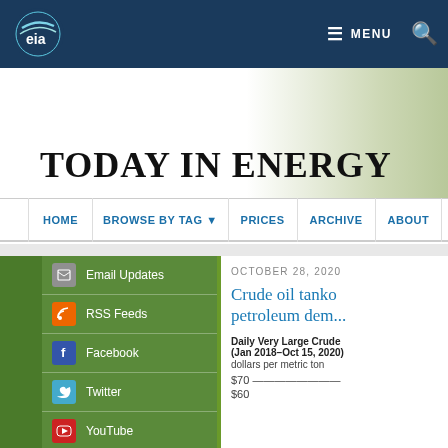EIA - Energy Information Administration
TODAY IN ENERGY
HOME | BROWSE BY TAG | PRICES | ARCHIVE | ABOUT
Email Updates
RSS Feeds
Facebook
Twitter
YouTube
OCTOBER 28, 2020
Crude oil tanker... petroleum dem...
Daily Very Large Crude (Jan 2018–Oct 15, 2020)
dollars per metric ton
$70
$60